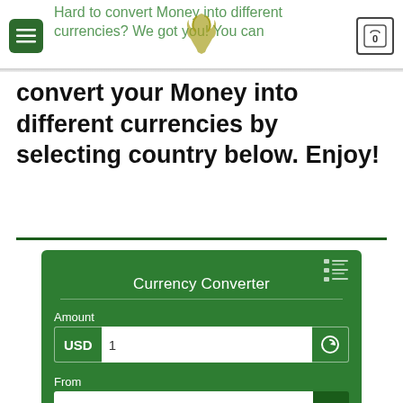Hard to convert Money into different currencies? We got you! You can
convert your Money into different currencies by selecting country below. Enjoy!
[Figure (screenshot): Currency Converter widget with dark green background. Contains Amount field (USD, value 1, refresh icon), From dropdown (United States Dollar - USD), and To dropdown (Euro - EUR) partially visible.]